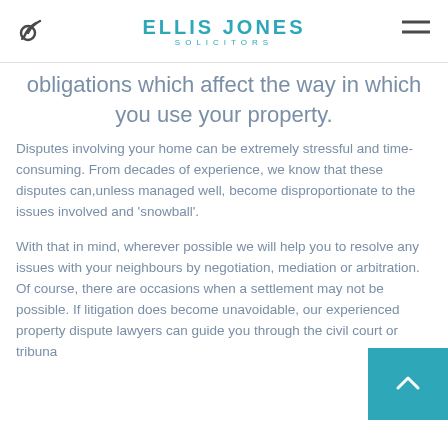ELLIS JONES SOLICITORS
obligations which affect the way in which you use your property.
Disputes involving your home can be extremely stressful and time-consuming. From decades of experience, we know that these disputes can,unless managed well, become disproportionate to the issues involved and 'snowball'.
With that in mind, wherever possible we will help you to resolve any issues with your neighbours by negotiation, mediation or arbitration. Of course, there are occasions when a settlement may not be possible. If litigation does become unavoidable, our experienced property dispute lawyers can guide you through the civil court or tribunal.